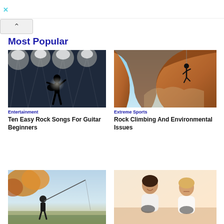×
Most Popular
[Figure (photo): Silhouette of a guitarist on stage with bright concert lights behind]
Entertainment
Ten Easy Rock Songs For Guitar Beginners
[Figure (photo): Rock climber on an overhanging cave cliff against blue sky]
Extreme Sports
Rock Climbing And Environmental Issues
[Figure (photo): Man fishing outdoors in autumn foliage]
[Figure (photo): Two women sitting on a couch playing video games with controllers]